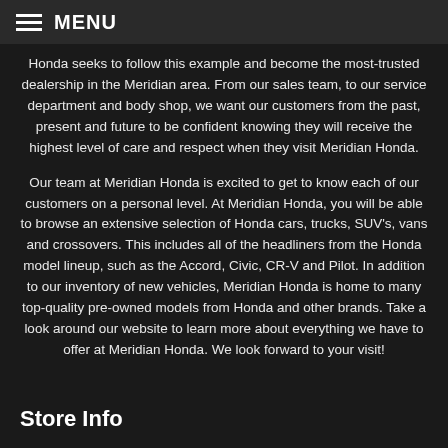MENU
Honda seeks to follow this example and become the most-trusted dealership in the Meridian area. From our sales team, to our service department and body shop, we want our customers from the past, present and future to be confident knowing they will receive the highest level of care and respect when they visit Meridian Honda.
Our team at Meridian Honda is excited to get to know each of our customers on a personal level. At Meridian Honda, you will be able to browse an extensive selection of Honda cars, trucks, SUV's, vans and crossovers. This includes all of the headliners from the Honda model lineup, such as the Accord, Civic, CR-V and Pilot. In addition to our inventory of new vehicles, Meridian Honda is home to many top-quality pre-owned models from Honda and other brands. Take a look around our website to learn more about everything we have to offer at Meridian Honda. We look forward to your visit!
Store Info